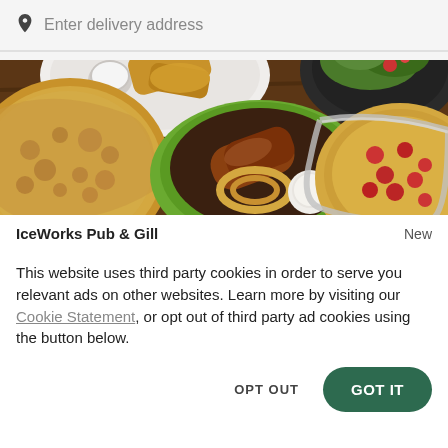Enter delivery address
[Figure (photo): Overhead shot of various restaurant dishes on a dark wooden table including pizza, wings in a green bowl, salad, and other food items]
IceWorks Pub & Gill
New
This website uses third party cookies in order to serve you relevant ads on other websites. Learn more by visiting our Cookie Statement, or opt out of third party ad cookies using the button below.
OPT OUT
GOT IT